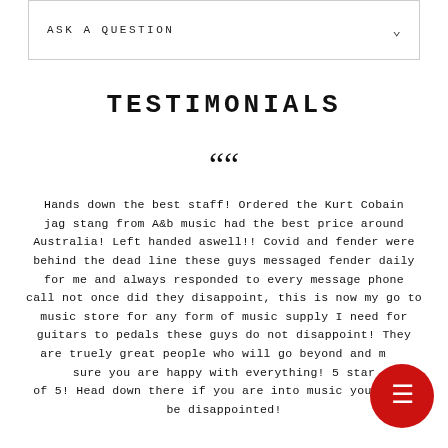ASK A QUESTION
TESTIMONIALS
““
Hands down the best staff! Ordered the Kurt Cobain jag stang from A&b music had the best price around Australia! Left handed aswell!! Covid and fender were behind the dead line these guys messaged fender daily for me and always responded to every message phone call not once did they disappoint, this is now my go to music store for any form of music supply I need for guitars to pedals these guys do not disappoint! They are truely great people who will go beyond and make sure you are happy with everything! 5 star of 5! Head down there if you are into music you won't be disappointed!